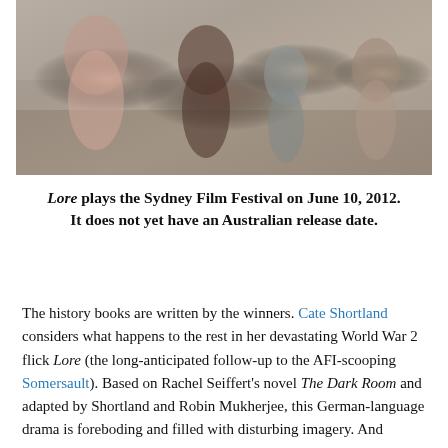[Figure (photo): Film still from 'Lore' showing a woman in a pink top, a person in a brown jacket touching the collar of a young boy in a grey hoodie, and another boy in a plaid shirt, with a blurred outdoor background.]
Lore plays the Sydney Film Festival on June 10, 2012. It does not yet have an Australian release date.
The history books are written by the winners. Cate Shortland considers what happens to the rest in her devastating World War 2 flick Lore (the long-anticipated follow-up to the AFI-scooping Somersault). Based on Rachel Seiffert's novel The Dark Room and adapted by Shortland and Robin Mukherjee, this German-language drama is foreboding and filled with disturbing imagery. And